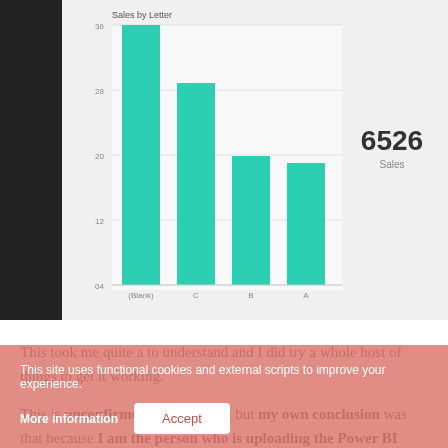[Figure (bar-chart): Sales by Letter]
This took me quite a to understand and I did try a whole host of things to get it working.
This is unconfirmed by Microsoft but my own conclusion was that because I am the person who is uploading the Power BI Desktop model into the Power BI Service, I must by default have Admin
This site uses functional cookies and external scripts to improve your experience.